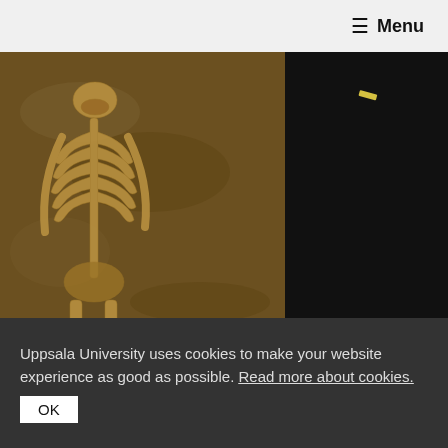≡ Menu
[Figure (photo): Archaeological excavation photograph showing a human skeleton laid out in a flat supine position (grave 54 from the Pitted Ware Culture burial site Ajvide on Gotland), with dark soil visible on the right side of the image.]
Mannen i grav 54 från det gropkeramiska gravfältet Ajvide på Gotland är begravd i raklångt ryggläge, typiskt för gropkeramiska gravar. Foto/bild: Göran Burenhult
Vilken sorts utbyte hade stenålderns olika kulturer med varandra? I en ny tvärvetenskaplig studie har forskare kombinerat arkeologisk och genetisk information för att
Uppsala University uses cookies to make your website experience as good as possible. Read more about cookies.